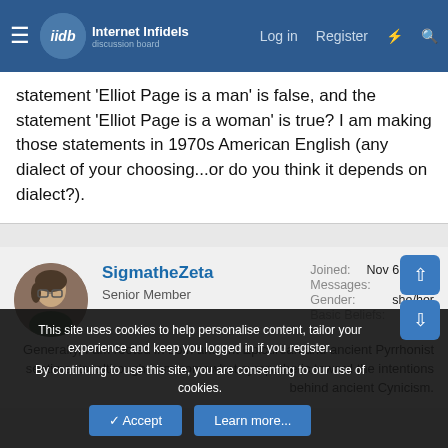Internet Infidels — Log in | Register
statement 'Elliot Page is a man' is false, and the statement 'Elliot Page is a woman' is true? I am making those statements in 1970s American English (any dialect of your choosing...or do you think it depends on dialect?).
SigmatheZeta
Senior Member
Joined: Nov 6, 2021
Messages: 601
Gender: she/her
Basic Beliefs: Generally, I am rooted in both ancient Epicurean and ancient Pyrrhonist sentiments, although I am somewhat sympathetic toward the intentions behind ancient Cynicism.
This site uses cookies to help personalise content, tailor your experience and keep you logged in if you register.
By continuing to use this site, you are consenting to our use of cookies.